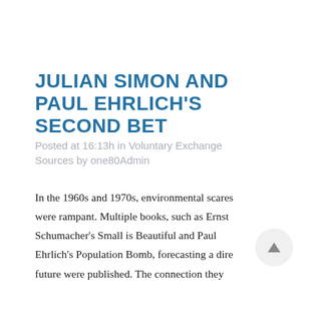JULIAN SIMON AND PAUL EHRLICH'S SECOND BET
Posted at 16:13h in Voluntary Exchange Sources by one80Admin
In the 1960s and 1970s, environmental scares were rampant. Multiple books, such as Ernst Schumacher's Small is Beautiful and Paul Ehrlich's Population Bomb, forecasting a dire future were published. The connection they